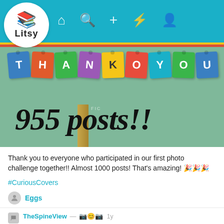[Figure (screenshot): Litsy app navigation bar with logo, home, search, add, activity, and profile icons on teal background]
[Figure (photo): Green background hero image with colorful THANK YOU letter tiles and text '955 posts!!' in italic bold script]
Thank you to everyone who participated in our first photo challenge together!! Almost 1000 posts! That's amazing! 🎉🎉🎉
#CuriousCovers
Eggs
TheSpineView — 📷😊📷  1y
Eggs — @Alwaysbeenaloverofbooks 🎉🎉🎉🎉♥  1y